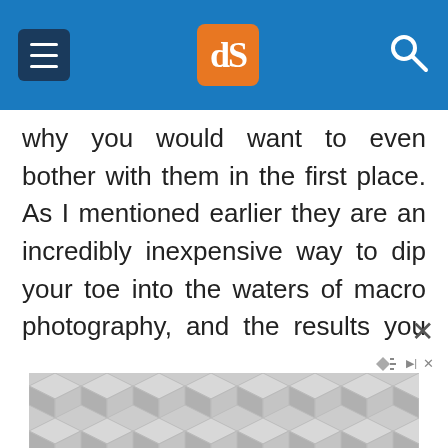dPS [digital photography school logo]
why you would want to even bother with them in the first place. As I mentioned earlier they are an incredibly inexpensive way to dip your toe into the waters of macro photography, and the results you can get from such a simple piece of glass will likely be far beyond what you ever thought possible shooting with your normal gear. The photo below of a yellow lily was taken with a standard 50mm lens and a +10 close-up filter, which is a fairly standard, inexpensive
[Figure (other): Advertisement banner with geometric grey hexagon/triangle tile pattern at the bottom of the page]